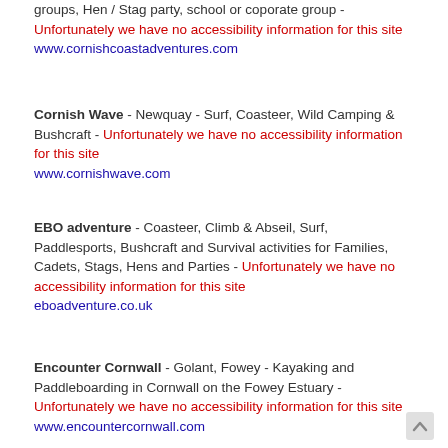groups, Hen / Stag party, school or coporate group - Unfortunately we have no accessibility information for this site www.cornishcoastadventures.com
Cornish Wave - Newquay - Surf, Coasteer, Wild Camping & Bushcraft - Unfortunately we have no accessibility information for this site www.cornishwave.com
EBO adventure - Coasteer, Climb & Abseil, Surf, Paddlesports, Bushcraft and Survival activities for Families, Cadets, Stags, Hens and Parties - Unfortunately we have no accessibility information for this site eboadventure.co.uk
Encounter Cornwall - Golant, Fowey - Kayaking and Paddleboarding in Cornwall on the Fowey Estuary - Unfortunately we have no accessibility information for this site www.encountercornwall.com